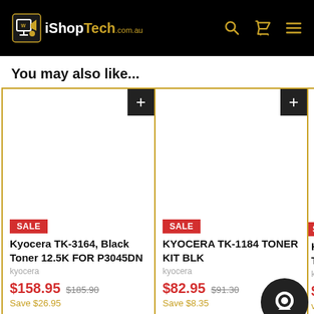iShopTech.com.au
You may also like...
SALE
Kyocera TK-3164, Black Toner 12.5K FOR P3045DN
kyocera
$158.95  $185.90
Save $26.95
SALE
KYOCERA TK-1184 TONER KIT BLK
kyocera
$82.95  $91.30
Save $8.35
SALE
KYOCERA TONER
kyocera
$96.95
Save $10